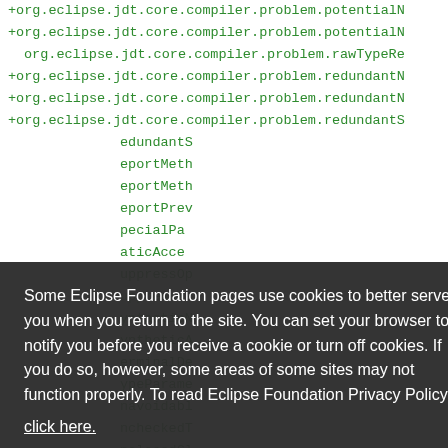+org.eclipse.jdt.core.compiler.problem.potentialN
+org.eclipse.jdt.core.compiler.problem.potentialN
 org.eclipse.jdt.core.compiler.problem.rawTypeRe
+org.eclipse.jdt.core.compiler.problem.redundantN
+org.eclipse.jdt.core.compiler.problem.redundantN
+org.eclipse.jdt.core.compiler.problem.redundantS
edundantS
eportMeth
eportMeth
eportPrev
pecialPa
aticAcce
uppressOp
uppressWa
yntacticN
yntheticA
erminalDe
ypeParame
navoidabl
ncheckedT
nclosedCl
ndocument
nhandledW
+org.eclipse.jdt.core.compiler.problem.unlikelyC
Some Eclipse Foundation pages use cookies to better serve you when you return to the site. You can set your browser to notify you before you receive a cookie or turn off cookies. If you do so, however, some areas of some sites may not function properly. To read Eclipse Foundation Privacy Policy
click here.
Decline
Allow cookies